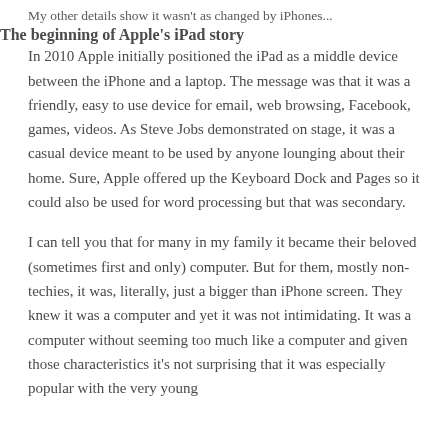My other details show it wasn't as changed by iPhones...
The beginning of Apple's iPad story
In 2010 Apple initially positioned the iPad as a middle device between the iPhone and a laptop. The message was that it was a friendly, easy to use device for email, web browsing, Facebook, games, videos. As Steve Jobs demonstrated on stage, it was a casual device meant to be used by anyone lounging about their home. Sure, Apple offered up the Keyboard Dock and Pages so it could also be used for word processing but that was secondary.
I can tell you that for many in my family it became their beloved (sometimes first and only) computer. But for them, mostly non-techies, it was, literally, just a bigger than iPhone screen. They knew it was a computer and yet it was not intimidating. It was a computer without seeming too much like a computer and given those characteristics it's not surprising that it was especially popular with the very young